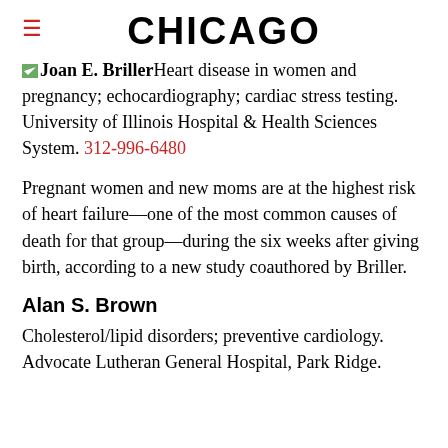CHICAGO
Joan E. BrillerHeart disease in women and pregnancy; echocardiography; cardiac stress testing. University of Illinois Hospital & Health Sciences System. 312-996-6480
Pregnant women and new moms are at the highest risk of heart failure—one of the most common causes of death for that group—during the six weeks after giving birth, according to a new study coauthored by Briller.
Alan S. Brown
Cholesterol/lipid disorders; preventive cardiology. Advocate Lutheran General Hospital, Park Ridge.